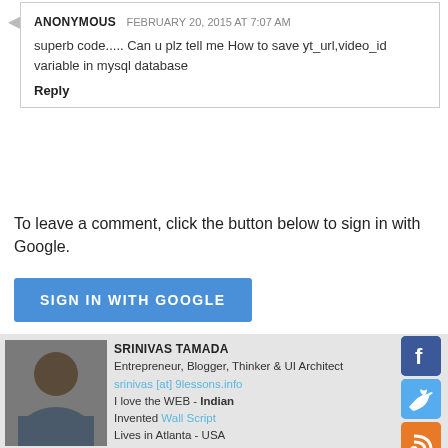ANONYMOUS  FEBRUARY 20, 2015 AT 7:07 AM
superb code..... Can u plz tell me How to save yt_url,video_id variable in mysql database
Reply
To leave a comment, click the button below to sign in with Google.
SIGN IN WITH GOOGLE
Newer Post
Older Post
Home
[Figure (photo): Portrait photo of a man (Srinivas Tamada) in front of a brick wall]
SRINIVAS TAMADA
Entrepreneur, Blogger, Thinker & UI Architect
srinivas [at] 9lessons.info
I love the WEB - Indian
Invented Wall Script
Lives in Atlanta - USA
[Figure (infographic): Social media icons: Facebook (blue), Twitter (light blue), RSS (orange), Vimeo (teal)]